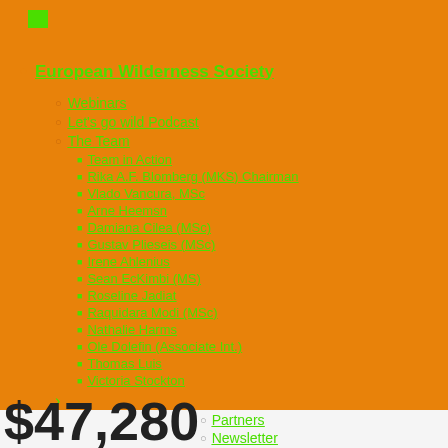European Wilderness Society
Webinars
Let's go wild Podcast
The Team
Team in Action
Rika A.F. Blomberg (MKS) Chairman
Vlado Vancura, MSc
Arne Heemsn
Damiana Cilea (MSc)
Gustav Plieseis (MSc)
Irene Ahlenius
Sean EcKimbi (MS)
Roseline Jadiat
Raquidara Modi (MSc)
Nathalie Harms
Ole Dolefin (Associate Int.)
Thomas Luis
Victoria Stockton
Funders
UNESCO Biosphere Reserve League
Partners
Newsletter
$47,280